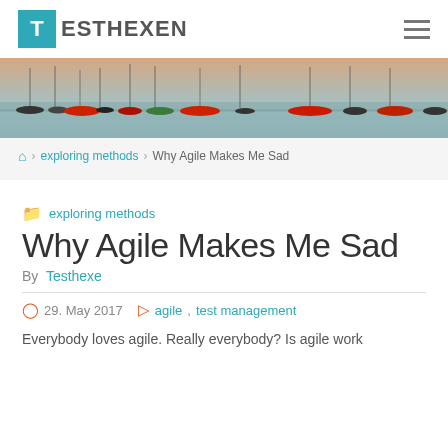T ESTHEXEN
[Figure (photo): Panoramic photo of sailboats moored on calm water at dusk/dawn with a pinkish-grey sky]
🏠 > exploring methods > Why Agile Makes Me Sad
📁 exploring methods
Why Agile Makes Me Sad
By Testhexe
🕐 29. May 2017   🏷 agile, test management
Everybody loves agile. Really everybody? Is agile work